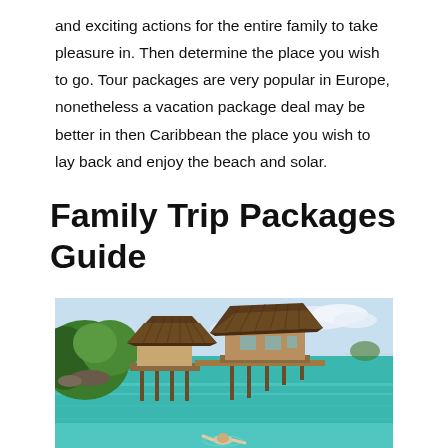and exciting actions for the entire family to take pleasure in. Then determine the place you wish to go. Tour packages are very popular in Europe, nonetheless a vacation package deal may be better in then Caribbean the place you wish to lay back and enjoy the beach and solar.
Family Trip Packages Guide
[Figure (photo): Tropical overwater bungalows with thatched roofs on stilts over clear turquoise water, with lush green vegetation on the left and a person swimming in the foreground.]